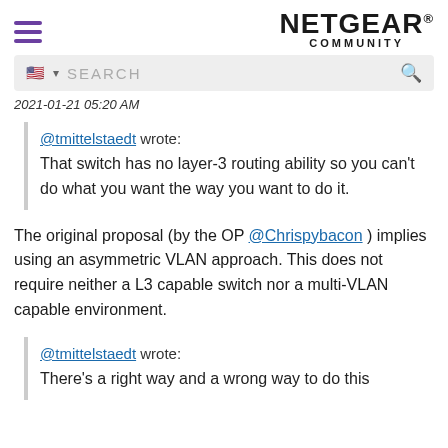NETGEAR COMMUNITY
[Figure (screenshot): Search bar with US flag icon and magnifying glass icon on grey background]
2021-01-21 05:20 AM
@tmittelstaedt wrote: That switch has no layer-3 routing ability so you can't do what you want the way you want to do it.
The original proposal (by the OP @Chrispybacon ) implies using an asymmetric VLAN approach. This does not require neither a L3 capable switch nor a multi-VLAN capable environment.
@tmittelstaedt wrote: There's a right way and a wrong way to do this